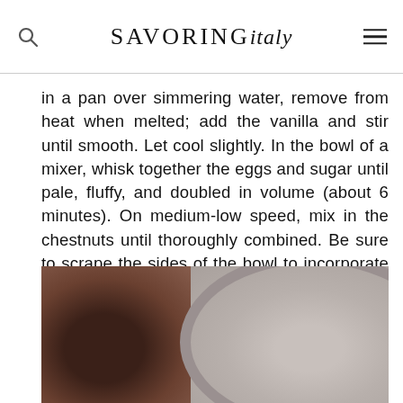SAVORING italy
in a pan over simmering water, remove from heat when melted; add the vanilla and stir until smooth. Let cool slightly. In the bowl of a mixer, whisk together the eggs and sugar until pale, fluffy, and doubled in volume (about 6 minutes). On medium-low speed, mix in the chestnuts until thoroughly combined. Be sure to scrape the sides of the bowl to incorporate all the chestnuts. Gently fold in the melted chocolate until smooth.
[Figure (photo): Two bowls side by side: left bowl contains a dark chocolate mass, right bowl contains a pale creamy batter mixture]